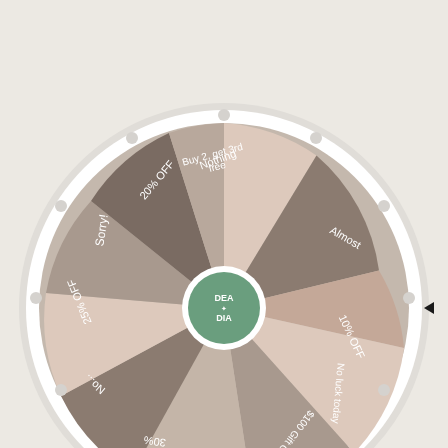[Figure (other): A spin-the-wheel prize wheel showing partially cropped circle with segments labeled: 'Buy 2, get 3rd free', 'Almost', '10% OFF', 'No luck today', '$100 Gift Card', 'Next...', '30%...', 'No...', '25% OFF', 'Sorry!', '20% OFF', 'Nothing'. Center hub shows 'DEA DIA' logo in green circle. A black arrow pointer is on the right side. Wheel has white outer ring with small circle decorations. Colors are muted beige, tan, and taupe tones.]